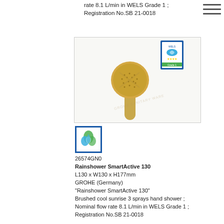rate 8.1 L/min in WELS Grade 1 ; Registration No.SB 21-0018
[Figure (photo): Gold/brushed cool sunrise handheld shower head (Rainshower SmartActive 130) with WELS rating label in top right corner]
[Figure (logo): WELS water efficiency label logo in blue square border]
26574GN0 Rainshower SmartActive 130 L130 x W130 x H177mm GROHE (Germany) "Rainshower SmartActive 130" Brushed cool sunrise 3 sprays hand shower ; Nominal flow rate 8.1 L/min in WELS Grade 1 ; Registration No.SB 21-0018